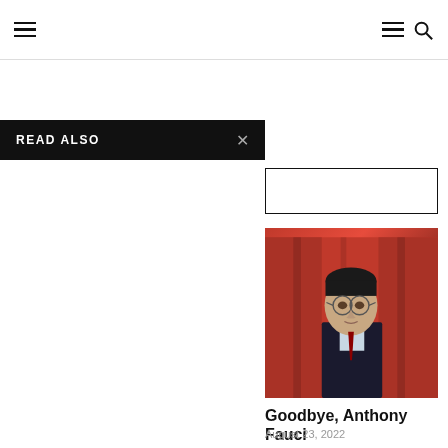≡  ≡ 🔍
READ ALSO
[Figure (photo): Portrait photo of a man in glasses and dark suit against a red background]
Goodbye, Anthony Fauci
August 23, 2022